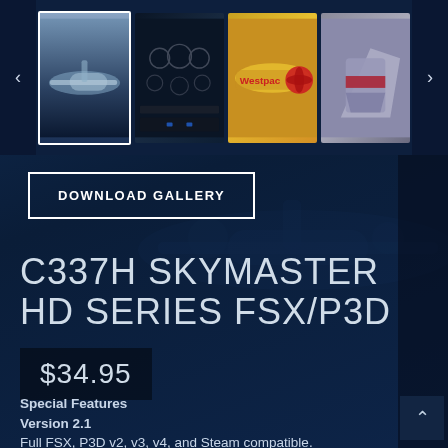[Figure (screenshot): Image gallery strip showing four thumbnail photos of a Cessna C337H Skymaster aircraft: exterior view, cockpit instruments, yellow Westpac livery, and tail section. Left and right navigation arrows flank the thumbnails.]
DOWNLOAD GALLERY
C337H SKYMASTER HD SERIES FSX/P3D
$34.95
Special Features
Version 2.1
Full FSX, P3D v2, v3, v4, and Steam compatible.
GTN integration
Cold and dark and Ready for taxi options added.
New avionics panels for default fleet.